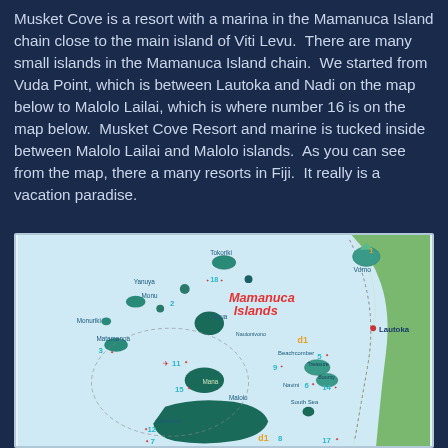Musket Cove is a resort with a marina in the Mamanuca Island chain close to the main island of Viti Levu.  There are many small islands in the Mamanuca Island chain.  We started from Vuda Point, which is between Lautoka and Nadi on the map below to Malolo Lailai, which is where number 16 is on the map below.  Musket Cove Resort and marine is tucked inside between Malolo Lailai and Malolo islands.  As you can see from the map, there a many resorts in Fiji.  It really is a vacation paradise.
[Figure (map): Map of Mamanuca Islands showing numbered resort locations, island names including Tokoriki, Yanuya, Monu, Monuriki, Matamanoa, Tavua, Nautonivono, Mana, Beachcomber, Treasure, Bounty, South Sea, Navini, Malolo, Castaway, Vomo, and the mainland coast with Lautoka labeled. Numbers 1-18 and d1 markers shown throughout.]